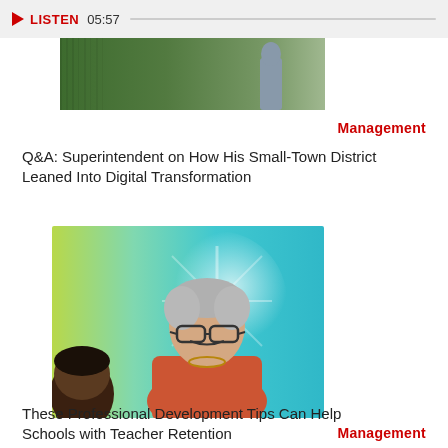[Figure (other): Audio player bar with red play button, LISTEN label, timestamp 05:57, and progress bar]
[Figure (photo): Partial photo of a person standing, cropped at waist, with green background]
Management
Q&A: Superintendent on How His Small-Town District Leaned Into Digital Transformation
[Figure (photo): Photo of a smiling older woman with gray hair and glasses wearing an orange shirt, leaning forward, with a student visible in the foreground and a colorful teal/green background]
Management
These Professional Development Tips Can Help Schools with Teacher Retention